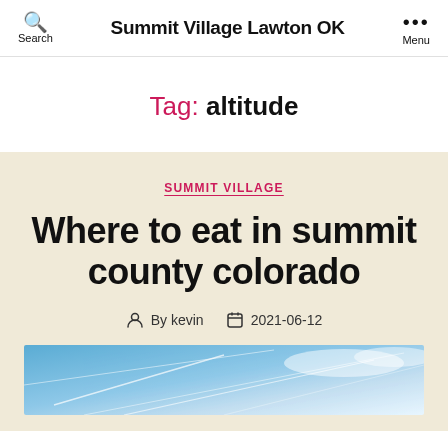Summit Village Lawton OK
Tag: altitude
SUMMIT VILLAGE
Where to eat in summit county colorado
By kevin  2021-06-12
[Figure (photo): Sky with cloud trails and vapor lines, blue sky background]